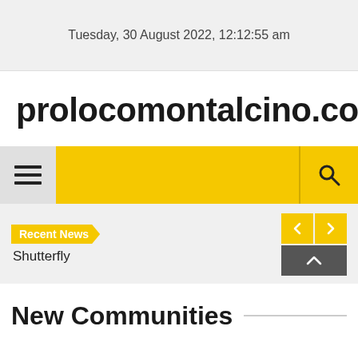Tuesday, 30 August 2022, 12:12:55 am
prolocomontalcino.com
[Figure (screenshot): Navigation bar with hamburger menu icon on the left (gray background) and search icon on the right, yellow/gold background]
Recent News
Shutterfly
New Communities